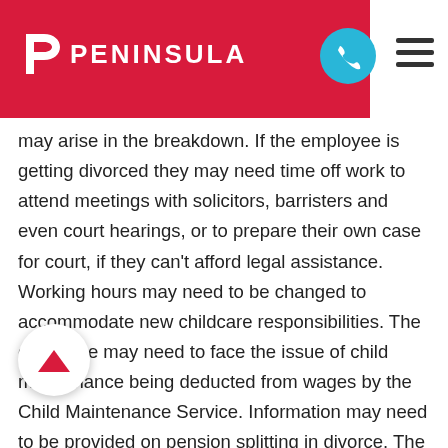PENINSULA
may arise in the breakdown. If the employee is getting divorced they may need time off work to attend meetings with solicitors, barristers and even court hearings, or to prepare their own case for court, if they can't afford legal assistance. Working hours may need to be changed to accommodate new childcare responsibilities. The employee may need to face the issue of child maintenance being deducted from wages by the Child Maintenance Service. Information may need to be provided on pension splitting in divorce. The more prepared the employer is the easier the employee will find this process. Employers can also show support by being familiar with organisations that offer advice and information on the alternative approaches to managing